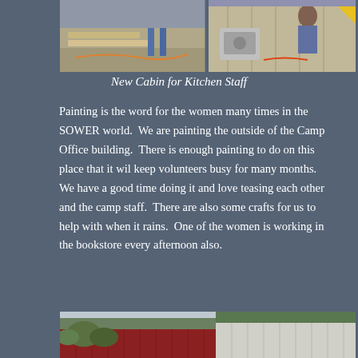[Figure (photo): Two construction/workshop photos side by side showing new cabin build for kitchen staff — lumber and tools visible]
New Cabin for Kitchen Staff
Painting is the word for the women many times in the SOWER world.  We are painting the outside of the Camp Office building.  There is enough painting to do on this place that it wil keep volunteers busy for many months.  We have a good time doing it and love teasing each other and the camp staff.  There are also some crafts for us to help with when it rains.  One of the women is working in the bookstore every afternoon also.
[Figure (photo): Photo of a red barn building with green metal roof and overcast sky with trees]